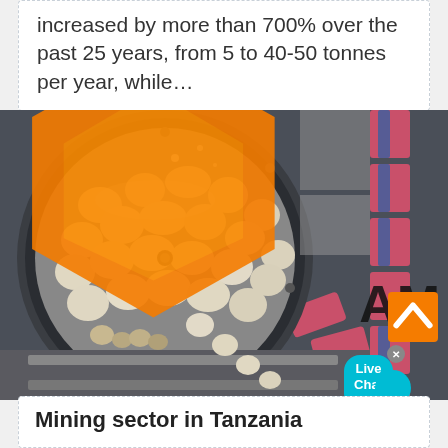increased by more than 700% over the past 25 years, from 5 to 40-50 tonnes per year, while…
[Figure (photo): Industrial tumbler/drum machine with stone or ore pellets, showing close-up of the rotating drum mechanism with pink/red padding material on a conveyor. Live Chat bubble overlay visible in top-right area.]
Mining sector in Tanzania